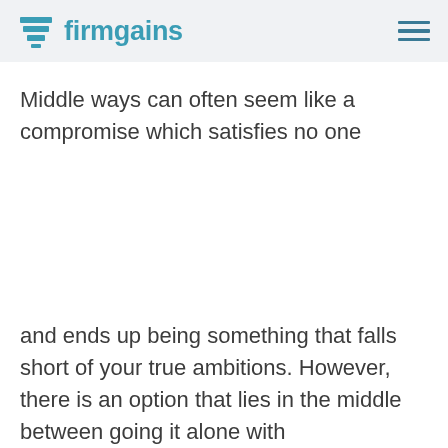firmgains
Middle ways can often seem like a compromise which satisfies no one
and ends up being something that falls short of your true ambitions. However, there is an option that lies in the middle between going it alone with